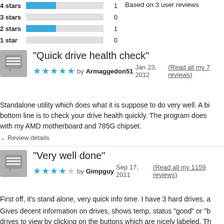[Figure (bar-chart): Star ratings]
Based on 3 user reviews
Post your own review
"Quick drive health check"
★★★★★ by Armaggedon51 Jan 23, 2012 (Read all my 7 reviews)
Standalone utility which does what it is suppose to do very well. A bi... bottom line is to check your drive health quickly. The program does ... with my AMD motherboard and 785G chipset.
Review details
"Very well done"
★★★★☆ by Gimpguy Sep 17, 2011 (Read all my 1159 reviews)
First off, it's stand alone, very quick info time. I have 3 hard drives, a...
Gives decent information on drives, shows temp, status "good" or "b... drives to view by clicking on the buttons which are nicely labeled. Th... theme tweaks like zoom, well, I think that was the only one. You car...